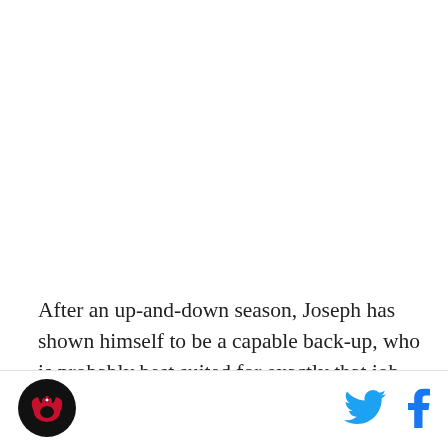After an up-and-down season, Joseph has shown himself to be a capable back-up, who is probably best suited for exactly that job. As he enters his age-26 season, there is undoubtedly still room for improvement, but also a prevailing feeling of “what you see is what you get” with the Toronto…
[Figure (logo): Circular logo with a stylized phoenix/bird figure in red and black on a dark background]
[Figure (logo): Twitter bird icon in cyan/blue]
[Figure (logo): Facebook 'f' icon in dark blue]